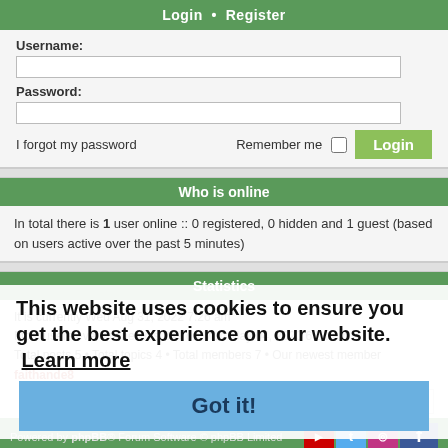Login • Register
Username:
Password:
I forgot my password    Remember me  Login
Who is online
In total there is 1 user online :: 0 registered, 0 hidden and 1 guest (based on users active over the past 5 minutes)
Statistics
It is currently Wed Aug 31, 2022 7:26 am
Most users ever online was 249 on Mon May 04, 2020 6:51 am
Total posts 5 • Total topics 4 • Total members 7 • Our newest member faithande8
Delete cookies   All times are UTC+12:00
Powered by phpBB® Forum Software © phpBB Limited
This website uses cookies to ensure you get the best experience on our website. Learn more
Got it!